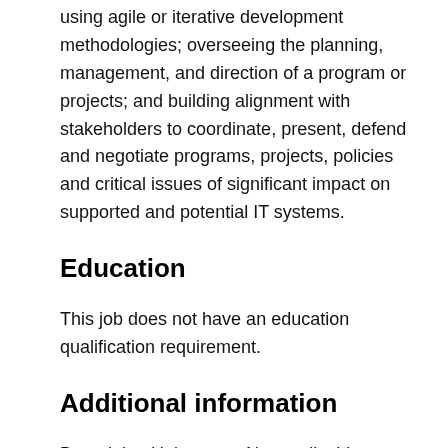using agile or iterative development methodologies; overseeing the planning, management, and direction of a program or projects; and building alignment with stakeholders to coordinate, present, defend and negotiate programs, projects, policies and critical issues of significant impact on supported and potential IT systems.
Education
This job does not have an education qualification requirement.
Additional information
Bargaining Unit status: Not applicable
Relocation-related expenses are not approved and will be your responsibility.